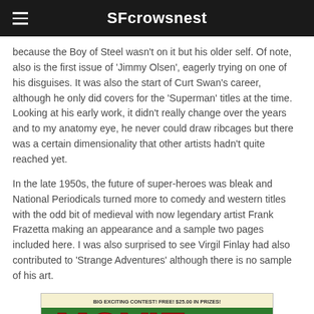SFcrowsnest
because the Boy of Steel wasn't on it but his older self. Of note, also is the first issue of 'Jimmy Olsen', eagerly trying on one of his disguises. It was also the start of Curt Swan's career, although he only did covers for the 'Superman' titles at the time. Looking at his early work, it didn't really change over the years and to my anatomy eye, he never could draw ribcages but there was a certain dimensionality that other artists hadn't quite reached yet.
In the late 1950s, the future of super-heroes was bleak and National Periodicals turned more to comedy and western titles with the odd bit of medieval with now legendary artist Frank Frazetta making an appearance and a sample two pages included here. I was also surprised to see Virgil Finlay had also contributed to 'Strange Adventures' although there is no sample of his art.
[Figure (photo): Cover of Movie Comics issue No. 6, Sept/Oct. Features bold red and yellow 'MOVIE' lettering with 'COMICS' in a blue banner. Text reads 'A full Movie Show for 10¢'. Shows a bald villain character. Header text: 'BIG EXCITING CONTEST! FREE! $25.00 IN PRIZES!']